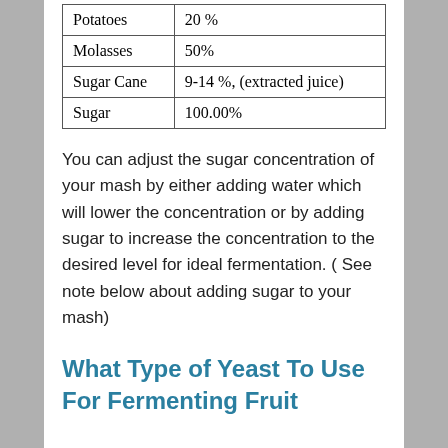| Potatoes | 20 % |
| Molasses | 50% |
| Sugar Cane | 9-14 %, (extracted juice) |
| Sugar | 100.00% |
You can adjust the sugar concentration of your mash by either adding water which will lower the concentration or by adding sugar to increase the concentration to the desired level for ideal fermentation. ( See note below about adding sugar to your mash)
What Type of Yeast To Use For Fermenting Fruit